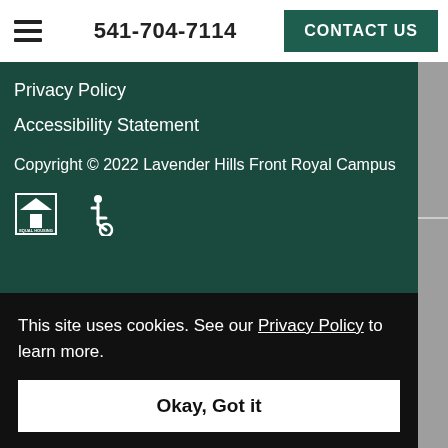541-704-7114  CONTACT US
Privacy Policy
Accessibility Statement
Copyright © 2022 Lavender Hills Front Royal Campus
[Figure (infographic): Equal Housing Opportunity logo and wheelchair accessibility icon]
This site uses cookies. See our Privacy Policy to learn more.
Okay, Got it